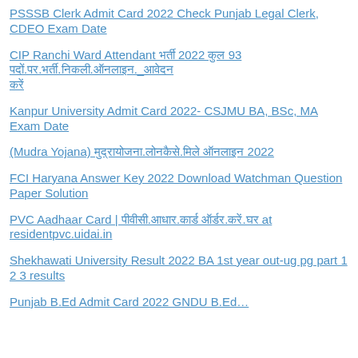PSSSB Clerk Admit Card 2022 Check Punjab Legal Clerk, CDEO Exam Date
CIP Ranchi Ward Attendant भर्ती 2022 कुल 93 पदों.पर.भर्ती.निकली.ऑनलाइन._आवेदन करें
Kanpur University Admit Card 2022- CSJMU BA, BSc, MA Exam Date
(Mudra Yojana) मुद्रायोजना.लोनकैसे.मिले ऑनलाइन 2022
FCI Haryana Answer Key 2022 Download Watchman Question Paper Solution
PVC Aadhaar Card | पीवीसी.आधार.कार्ड ऑर्डर.करें.घर at residentpvc.uidai.in
Shekhawati University Result 2022 BA 1st year out-ug pg part 1 2 3 results
Punjab B.Ed Admit Card 2022 GNDU B.Ed…